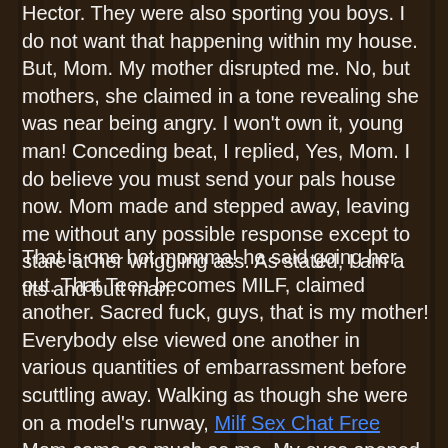Hector. They were also sporting you boys. I do not want that happening within my house. But, Mom. My mother disrupted me. No, but mothers, she claimed in a tone revealing she was near being angry. I won't own it, young man! Conceding beat, I replied, Yes, Mom. I do believe you must send your pals house now. Mom made and stepped away, leaving me without any possible response except to stare at her wriggling ass. As stated, I am a tits and butt man.
That is one hot momma! he said going her out. That Teen becomes MILF, claimed another. Sacred fuck, guys, that is my mother! Everybody else viewed one another in various quantities of embarrassment before scuttling away. Walking as though she were on a model's runway, Milf Sex Chat Free  Mom came as much as me. My eyes opened by the people, I'd to recognize with their characterization of her as a MILF. From that day onward, I sought out possibilities to check out my MILF. It did not subject if she were in bathing fits or skirts and clothes, I looked over her as a female and maybe not a mother in the absolute most surreptitious